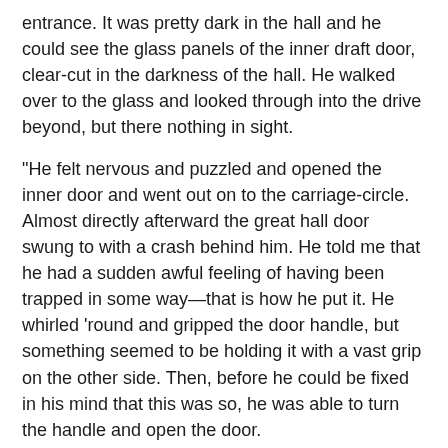entrance. It was pretty dark in the hall and he could see the glass panels of the inner draft door, clear-cut in the darkness of the hall. He walked over to the glass and looked through into the drive beyond, but there nothing in sight.
"He felt nervous and puzzled and opened the inner door and went out on to the carriage-circle. Almost directly afterward the great hall door swung to with a crash behind him. He told me that he had a sudden awful feeling of having been trapped in some way—that is how he put it. He whirled 'round and gripped the door handle, but something seemed to be holding it with a vast grip on the other side. Then, before he could be fixed in his mind that this was so, he was able to turn the handle and open the door.
"He paused a moment in the doorway and peered into the hall, for he had hardly steadied his mind sufficiently to know whether he was really frightened or not. Then he heard his sweetheart blow him a kiss out of the greyness of the big, unlit hall and he knew that she had followed him from the boudoir. He blew her a kiss back and stepped inside the doorway, meaning to go to her. And then, suddenly, in a flash